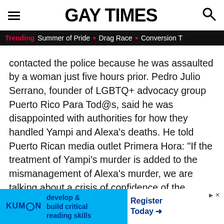GAY TIMES
Trending  Summer of Pride  ■  Drag Race  ■  Conversion T
contacted the police because he was assaulted by a woman just five hours prior. Pedro Julio Serrano, founder of LGBTQ+ advocacy group Puerto Rico Para Tod@s, said he was disappointed with authorities for how they handled Yampi and Alexa's deaths. He told Puerto Rican media outlet Primera Hora: "If the treatment of Yampi's murder is added to the mismanagement of Alexa's murder, we are talking about a crisis of confidence of the LGBTQ+ communities towards the police, because they are failing to comply with their own protocols of handling cases with dignity and sensitivity with the trans
[Figure (other): Kumon advertisement banner: develop & build critical reading skills. Register Today.]